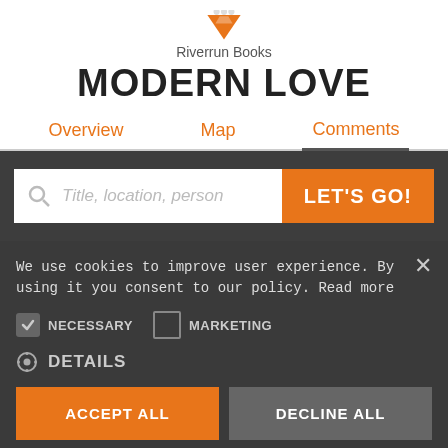[Figure (logo): Orange downward-pointing triangle/location pin logo icon with social media icons]
Riverrun Books
MODERN LOVE
Overview   Map   Comments
Title, location, person
LET'S GO!
We use cookies to improve user experience. By using it you consent to our policy. Read more
NECESSARY   MARKETING
DETAILS
ACCEPT ALL
DECLINE ALL